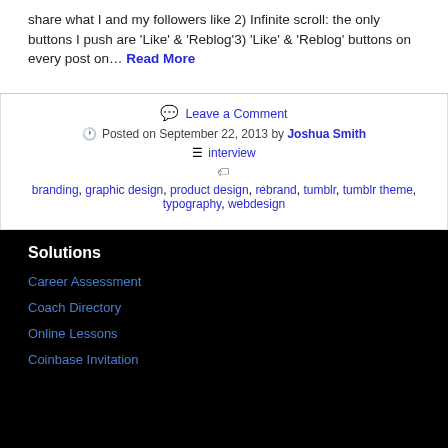share what I and my followers like 2) Infinite scroll: the only buttons I push are 'Like' & 'Reblog'3) 'Like' & 'Reblog' buttons on every post on… Read More
Leave a Comment
Posted on September 22, 2013 by Joshua Smith
interview
branding, graphic design, product design, rebrand, tumblr, tumblr theme, typography, webdesign
Solutions
Career Assessment
Coach Directory
Online Lessons
Coinbase Invitation